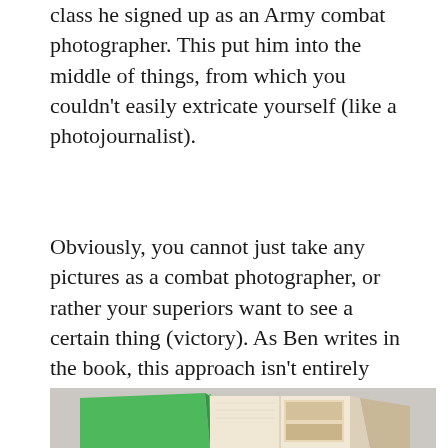class he signed up as an Army combat photographer. This put him into the middle of things, from which you couldn't easily extricate yourself (like a photojournalist).
Obviously, you cannot just take any pictures as a combat photographer, or rather your superiors want to see a certain thing (victory). As Ben writes in the book, this approach isn't entirely different than how photojournalism works, it's just somewhat different objectives. Having eventually left the military, he went back to photographing, this time as an embedded photojournalist. He ended up photographing in both Iraq and Afghanistan, and there is a very large number if photographs from both locations in the book.
[Figure (photo): Partial view of an open book with a green cover and visible interior pages with photographs, resting on a light gray surface.]